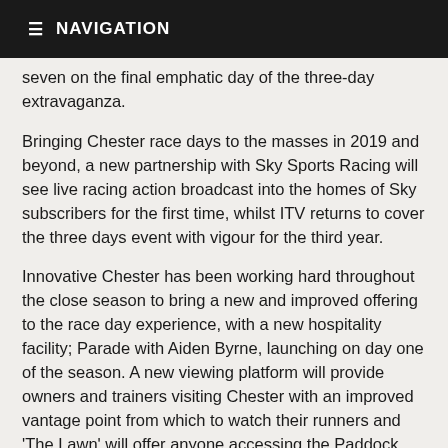NAVIGATION
seven on the final emphatic day of the three-day extravaganza.
Bringing Chester race days to the masses in 2019 and beyond, a new partnership with Sky Sports Racing will see live racing action broadcast into the homes of Sky subscribers for the first time, whilst ITV returns to cover the three days event with vigour for the third year.
Innovative Chester has been working hard throughout the close season to bring a new and improved offering to the race day experience, with a new hospitality facility; Parade with Aiden Byrne, launching on day one of the season. A new viewing platform will provide owners and trainers visiting Chester with an improved vantage point from which to watch their runners and 'The Lawn' will offer anyone accessing the Paddock side of the course with a new area from which to enjoy the Chester experience.